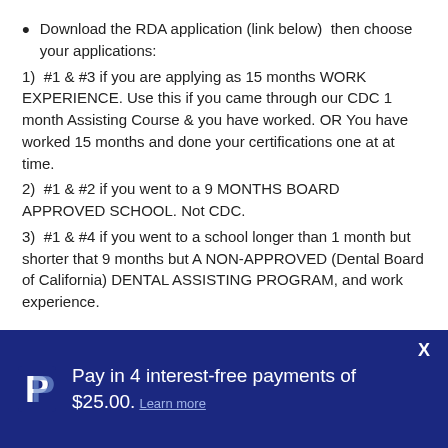Download the RDA application (link below)  then choose your applications:
1)  #1 & #3 if you are applying as 15 months WORK EXPERIENCE. Use this if you came through our CDC 1 month Assisting Course & you have worked. OR You have worked 15 months and done your certifications one at at time.
2)  #1 & #2 if you went to a 9 MONTHS BOARD APPROVED SCHOOL. Not CDC.
3)  #1 & #4 if you went to a school longer than 1 month but shorter that 9 months but A NON-APPROVED (Dental Board of California) DENTAL ASSISTING PROGRAM, and work experience.
[Figure (other): PayPal promotional banner with PayPal logo and text: Pay in 4 interest-free payments of $25.00. Learn more. Blue background with white text.]